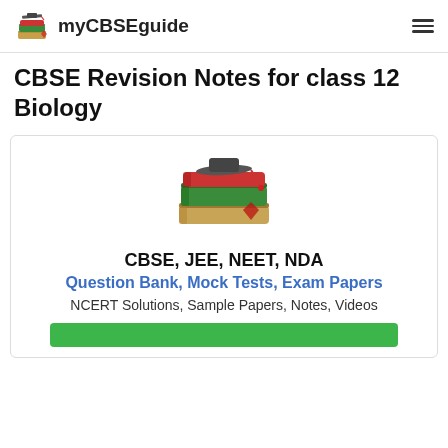myCBSEguide
CBSE Revision Notes for class 12 Biology
[Figure (illustration): Stack of books with a graduation cap on top, colorful books in red, green, and brown with a bookmark ribbon]
CBSE, JEE, NEET, NDA
Question Bank, Mock Tests, Exam Papers
NCERT Solutions, Sample Papers, Notes, Videos